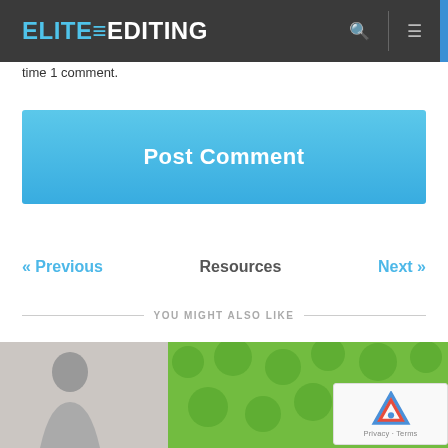ELITE=EDITING
time 1 comment.
[Figure (screenshot): Blue 'Post Comment' button]
« Previous    Resources    Next »
YOU MIGHT ALSO LIKE
[Figure (photo): Person and green polka dot image strip at bottom of page]